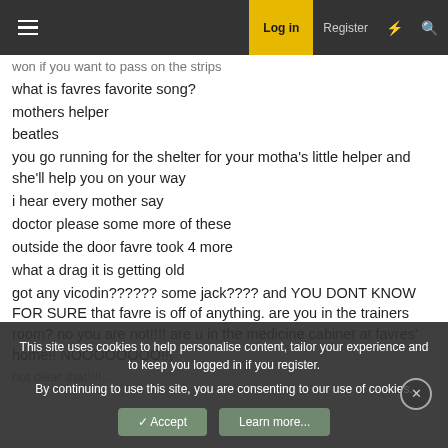Log in  Register
won if you want to pass on the strips
what is favres favorite song?
mothers helper
beatles
you go running for the shelter for your motha's little helper and she'll help you on your way
i hear every mother say
doctor please some more of these
outside the door favre took 4 more
what a drag it is getting old
got any vicodin?????? some jack???? and YOU DONT KNOW FOR SURE that favre is off of anything. are you in the trainers room? no you are not!!!! are u in the medicine cabinet at favres' home!! NOOOOOOOO!!!
This site uses cookies to help personalise content, tailor your experience and to keep you logged in if you register.
By continuing to use this site, you are consenting to our use of cookies.